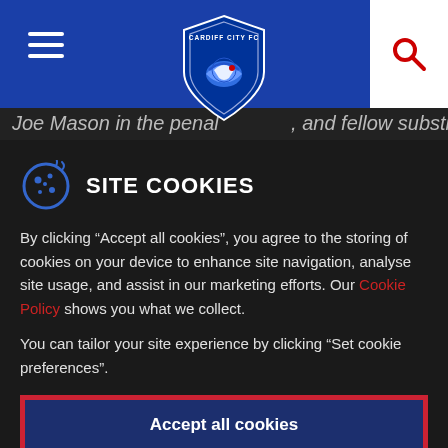[Figure (logo): Cardiff City FC shield/crest logo in center of blue navigation bar, with hamburger menu icon on left and red search icon on right in white box]
Joe Mason in the penal..., and fellow substitute
SITE COOKIES
By clicking “Accept all cookies”, you agree to the storing of cookies on your device to enhance site navigation, analyse site usage, and assist in our marketing efforts. Our Cookie Policy shows you what we collect.
You can tailor your site experience by clicking "Set cookie preferences".
Accept all cookies
Set Cookie Preferences